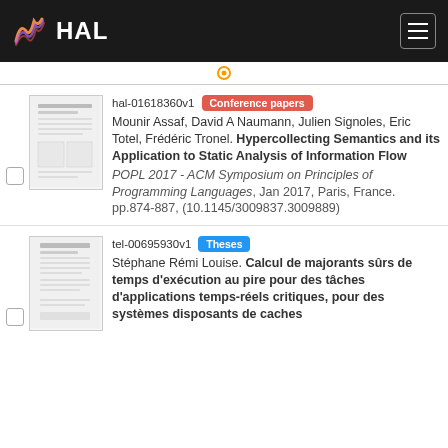HAL
hal-01618360v1 Conference papers
Mounir Assaf, David A Naumann, Julien Signoles, Eric Totel, Frédéric Tronel. Hypercollecting Semantics and its Application to Static Analysis of Information Flow
POPL 2017 - ACM Symposium on Principles of Programming Languages, Jan 2017, Paris, France. pp.874-887, (10.1145/3009837.3009889)
tel-00695930v1 Theses
Stéphane Rémi Louise. Calcul de majorants sûrs de temps d'exécution au pire pour des tâches d'applications temps-réels critiques, pour des systèmes disposants de caches